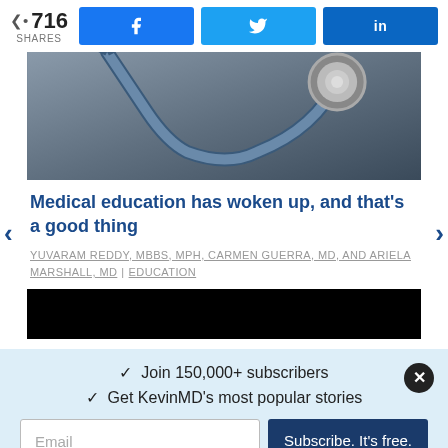716 SHARES | Facebook Share | Twitter Share | LinkedIn Share
[Figure (photo): Photo of a stethoscope on a dark surface, partially visible at the top of the article card]
Medical education has woken up, and that's a good thing
YUVARAM REDDY, MBBS, MPH, CARMEN GUERRA, MD, AND ARIELA MARSHALL, MD | EDUCATION
[Figure (other): Black redacted/censored bar]
✓  Join 150,000+ subscribers
✓  Get KevinMD's most popular stories
Email  Subscribe. It's free.